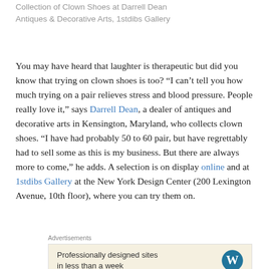Collection of Clown Shoes at Darrell Dean Antiques & Decorative Arts, 1stdibs Gallery
You may have heard that laughter is therapeutic but did you know that trying on clown shoes is too? “I can’t tell you how much trying on a pair relieves stress and blood pressure. People really love it,” says Darrell Dean, a dealer of antiques and decorative arts in Kensington, Maryland, who collects clown shoes. “I have had probably 50 to 60 pair, but have regrettably had to sell some as this is my business. But there are always more to come,” he adds. A selection is on display online and at 1stdibs Gallery at the New York Design Center (200 Lexington Avenue, 10th floor), where you can try them on.
Advertisements
[Figure (other): Advertisement for WordPress: Professionally designed sites in less than a week, with WordPress logo]